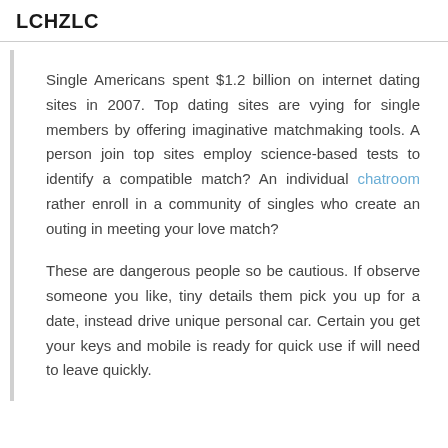LCHZLC
Single Americans spent $1.2 billion on internet dating sites in 2007. Top dating sites are vying for single members by offering imaginative matchmaking tools. A person join top sites employ science-based tests to identify a compatible match? An individual chatroom rather enroll in a community of singles who create an outing in meeting your love match?
These are dangerous people so be cautious. If observe someone you like, tiny details them pick you up for a date, instead drive unique personal car. Certain you get your keys and mobile is ready for quick use if will need to leave quickly.